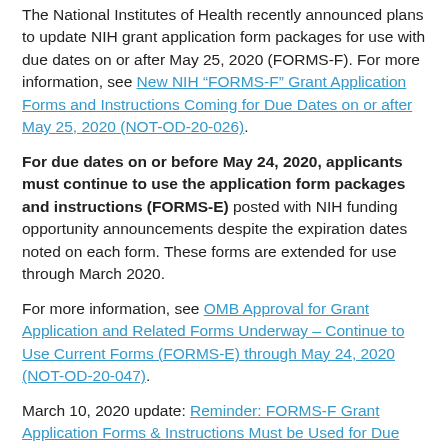The National Institutes of Health recently announced plans to update NIH grant application form packages for use with due dates on or after May 25, 2020 (FORMS-F). For more information, see New NIH "FORMS-F" Grant Application Forms and Instructions Coming for Due Dates on or after May 25, 2020 (NOT-OD-20-026).
For due dates on or before May 24, 2020, applicants must continue to use the application form packages and instructions (FORMS-E) posted with NIH funding opportunity announcements despite the expiration dates noted on each form. These forms are extended for use through March 2020.
For more information, see OMB Approval for Grant Application and Related Forms Underway – Continue to Use Current Forms (FORMS-E) through May 24, 2020 (NOT-OD-20-047).
March 10, 2020 update: Reminder: FORMS-F Grant Application Forms & Instructions Must be Used for Due Dates On or After May 25, 2020- New Grant Application Instructions Now Available (NOT-OD-20-077).